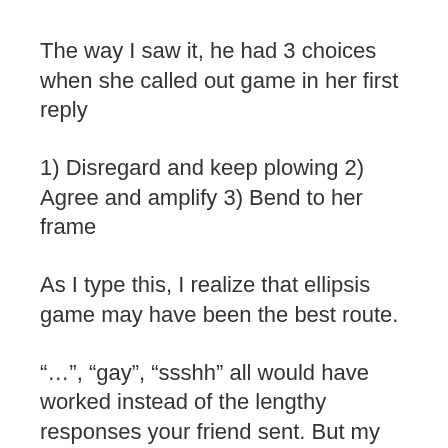The way I saw it, he had 3 choices when she called out game in her first reply
1) Disregard and keep plowing 2) Agree and amplify 3) Bend to her frame
As I type this, I realize that ellipsis game may have been the best route.
“…”, “gay”, “ssshh” all would have worked instead of the lengthy responses your friend sent. But my favorite is the recently unearthed “emoji game”. A graphic of a cat sitting next to a birthday cake strikes me as the ideal mix of no-fuck-given alpha ‘tude and teasing, flirty vibe for a girl who thinks she’s gotten one over on you.